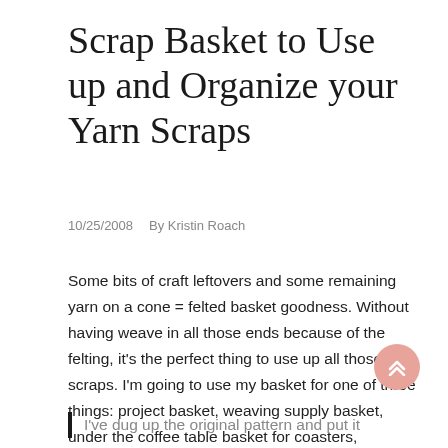Scrap Basket to Use up and Organize your Yarn Scraps
10/25/2008   By Kristin Roach
Some bits of craft leftovers and some remaining yarn on a cone = felted basket goodness. Without having weave in all those ends because of the felting, it's the perfect thing to use up all those scraps. I'm going to use my basket for one of three things: project basket, weaving supply basket, under the coffee table basket for coasters, remotes, and magazines. I think the last option might just be the one because we are in need of something for that for sure.
I've dug up the original pattern and put it